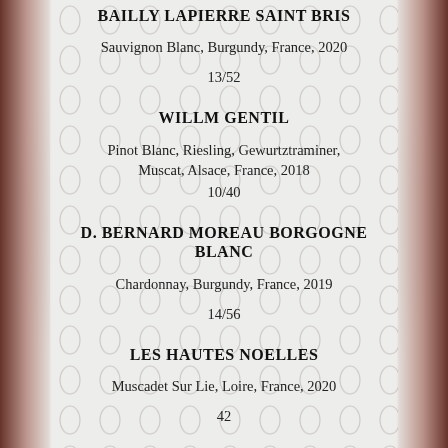BAILLY LAPIERRE SAINT BRIS
Sauvignon Blanc, Burgundy, France, 2020
13/52
WILLM GENTIL
Pinot Blanc, Riesling, Gewurtztraminer, Muscat, Alsace, France, 2018
10/40
D. BERNARD MOREAU BORGOGNE BLANC
Chardonnay, Burgundy, France, 2019
14/56
LES HAUTES NOELLES
Muscadet Sur Lie, Loire, France, 2020
42